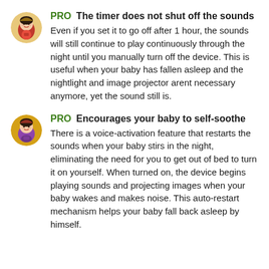PRO The timer does not shut off the sounds
Even if you set it to go off after 1 hour, the sounds will still continue to play continuously through the night until you manually turn off the device. This is useful when your baby has fallen asleep and the nightlight and image projector arent necessary anymore, yet the sound still is.
PRO Encourages your baby to self-soothe
There is a voice-activation feature that restarts the sounds when your baby stirs in the night, eliminating the need for you to get out of bed to turn it on yourself. When turned on, the device begins playing sounds and projecting images when your baby wakes and makes noise. This auto-restart mechanism helps your baby fall back asleep by himself.